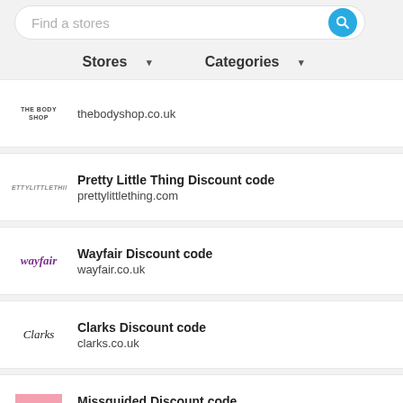Find a stores
Stores ▾   Categories ▾
thebodyshop.co.uk
Pretty Little Thing Discount code
prettylittlething.com
Wayfair Discount code
wayfair.co.uk
Clarks Discount code
clarks.co.uk
Missguided Discount code
missguided.co.uk
Myprotein Discount code
myprotein.co.uk
Dorothy Perkins Discount code
dorothy-perkins-us